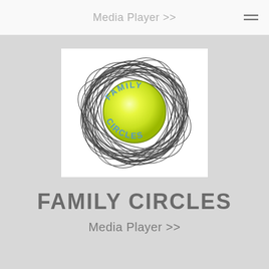Media Player >>
[Figure (logo): Family Circles logo: a yellow-green glowing sphere with 'FAMILY' arched along the top and 'CIRCLES' arched along the bottom in blue text, surrounded by dense swirling black sketch lines forming a circular tangle.]
FAMILY CIRCLES
Media Player >>